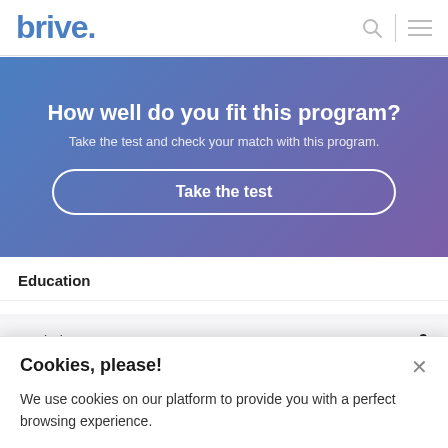brive.
[Figure (screenshot): Banner with gradient background (blue to purple) containing heading 'How well do you fit this program?', subtitle text, and a 'Take the test' button with white border.]
Education
|  |  |
| --- | --- |
| Bachelor's Degree | 6 |
Cookies, please!
We use cookies on our platform to provide you with a perfect browsing experience.
Accept all